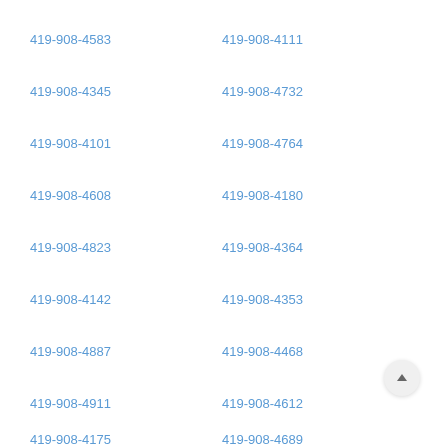419-908-4583
419-908-4111
419-908-4345
419-908-4732
419-908-4101
419-908-4764
419-908-4608
419-908-4180
419-908-4823
419-908-4364
419-908-4142
419-908-4353
419-908-4887
419-908-4468
419-908-4911
419-908-4612
419-908-4175
419-908-4689